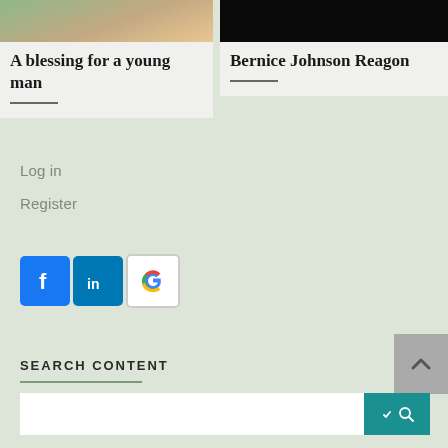[Figure (photo): Partial photo of a person (face/skin visible), cropped at top, left card]
A blessing for a young man
[Figure (photo): Dark/black image, possibly a person with dark background, right card]
Bernice Johnson Reagon
Log in
Register
[Figure (logo): Social login icons: Facebook (blue f), LinkedIn (blue in), Google (G)]
SEARCH CONTENT
Search input bar with dropdown and search button